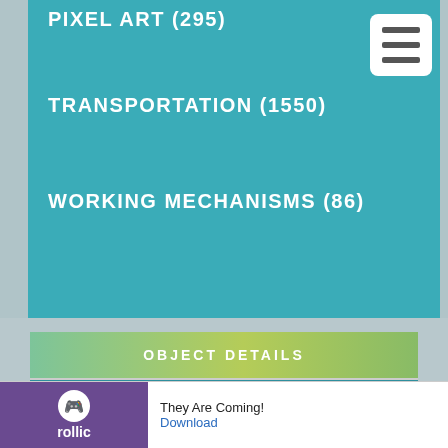PIXEL ART (295)
TRANSPORTATION (1550)
WORKING MECHANISMS (86)
OBJECT DETAILS
3D MODEL
BLUEPRINTS
COMMENTS
Hobbit Gallow
Ad   They Are Coming!   Download